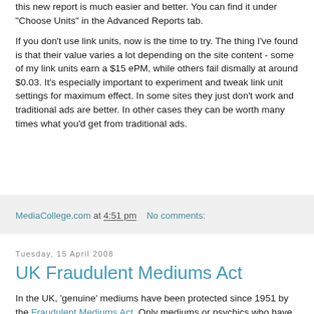this new report is much easier and better. You can find it under "Choose Units" in the Advanced Reports tab.
If you don't use link units, now is the time to try. The thing I've found is that their value varies a lot depending on the site content - some of my link units earn a $15 ePM, while others fail dismally at around $0.03. It's especially important to experiment and tweak link unit settings for maximum effect. In some sites they just don't work and traditional ads are better. In other cases they can be worth many times what you'd get from traditional ads.
MediaCollege.com at 4:51 pm   No comments:
Tuesday, 15 April 2008
UK Fraudulent Mediums Act
In the UK, 'genuine' mediums have been protected since 1951 by the Fraudulent Mediums Act. Only mediums or psychics who have been proven to be frauds could be convicted, which is difficult, and only 10 have been convicted